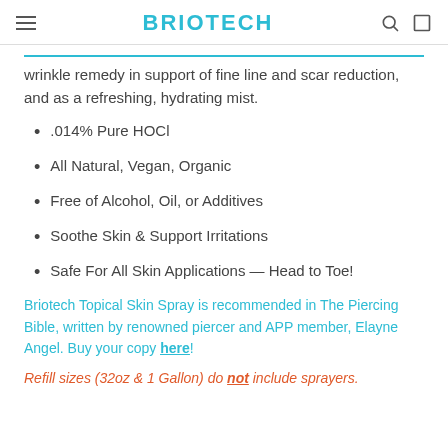BRIOTECH
wrinkle remedy in support of fine line and scar reduction, and as a refreshing, hydrating mist.
.014% Pure HOCl
All Natural, Vegan, Organic
Free of Alcohol, Oil, or Additives
Soothe Skin & Support Irritations
Safe For All Skin Applications — Head to Toe!
Briotech Topical Skin Spray is recommended in The Piercing Bible, written by renowned piercer and APP member, Elayne Angel. Buy your copy here!
Refill sizes (32oz & 1 Gallon) do not include sprayers.